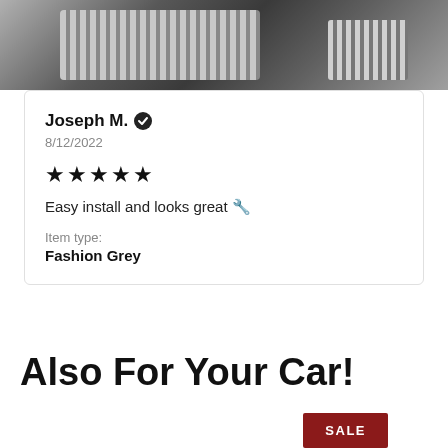[Figure (photo): Close-up photo of a car engine with metallic air filter components, chrome/silver finned parts visible against dark background]
Joseph M. ✔
8/12/2022
★★★★★
Easy install and looks great 🔧
Item type:
Fashion Grey
Also For Your Car!
SALE